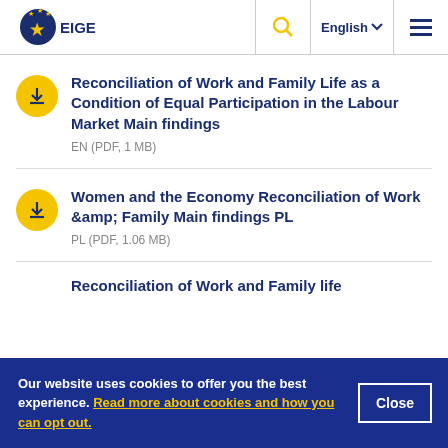EIGE — English — Navigation
Reconciliation of Work and Family Life as a Condition of Equal Participation in the Labour Market Main findings — EN (PDF, 1 MB)
Women and the Economy Reconciliation of Work &amp; Family Main findings PL — PL (PDF, 1.06 MB)
Reconciliation of Work and Family life…
Our website uses cookies to offer you the best experience. Read more about cookies and how you can opt out. Close